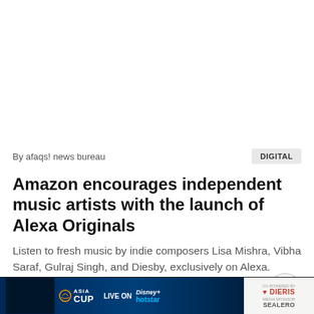[Figure (photo): White blank image area at top of article card]
By afaqs! news bureau
DIGITAL
Amazon encourages independent music artists with the launch of Alexa Originals
Listen to fresh music by indie composers Lisa Mishra, Vibha Saraf, Gulraj Singh, and Diesby, exclusively on Alexa.
[Figure (photo): Asia Cup advertisement banner at bottom: cricket players, Asia Cup logo, Live on Disney+ Hotstar, co-powered by Dieris and media sponsor Sealero]